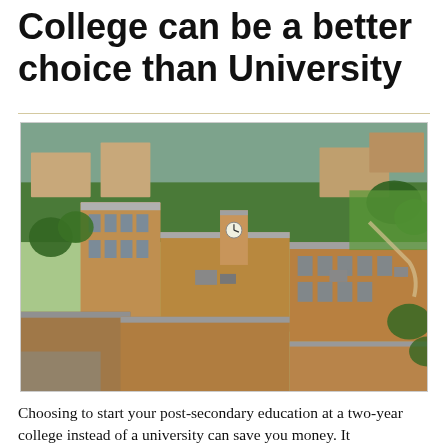College can be a better choice than University
[Figure (photo): Aerial view of a college campus with brick buildings, flat rooftops, green trees, lawns, and parking areas. Buildings include a clock tower. Sunny day with blue sky.]
Choosing to start your post-secondary education at a two-year college instead of a university can save you money. It